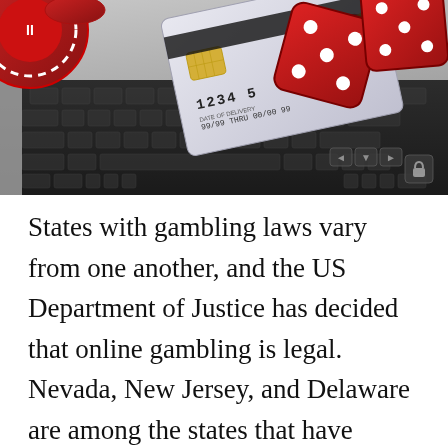[Figure (photo): Photo of red dice and a credit card (numbered 1234, 99/99 THRU 00/00 99) on a laptop keyboard, with red casino chips visible, suggesting online gambling.]
States with gambling laws vary from one another, and the US Department of Justice has decided that online gambling is legal. Nevada, New Jersey, and Delaware are among the states that have legalized online gambling, though their laws vary. In addition to Nevada, several other states are considering legislation about online...